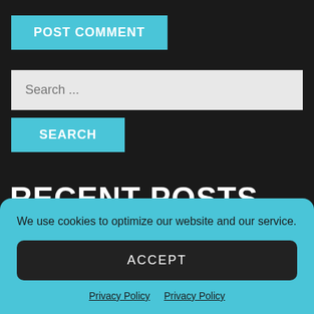POST COMMENT
Search ...
SEARCH
RECENT POSTS
When the Leader Believes In the People
We use cookies to optimize our website and our service.
ACCEPT
Privacy Policy  Privacy Policy